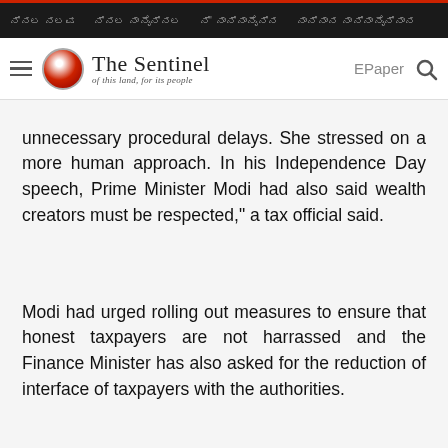The Sentinel – of this land, for its people | EPaper
unnecessary procedural delays. She stressed on a more human approach. In his Independence Day speech, Prime Minister Modi had also said wealth creators must be respected," a tax official said.
Modi had urged rolling out measures to ensure that honest taxpayers are not harrassed and the Finance Minister has also asked for the reduction of interface of taxpayers with the authorities.